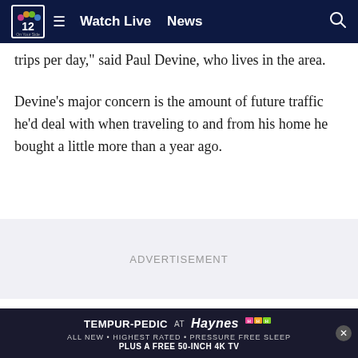NBC 12 On Your Side — Watch Live  News
trips per day," said Paul Devine, who lives in the area.
Devine's major concern is the amount of future traffic he'd deal with when traveling to and from his home he bought a little more than a year ago.
ADVERTISEMENT
"Getting from here to 95 or 295 is going to be a pain," he said.
According to a traffic impact analysis by the County, it showed... 2,800 trips pe... light
[Figure (screenshot): Bottom advertisement banner: TEMPUR-PEDIC at Haynes — ALL NEW • HIGHEST RATED • PRESSURE FREE SLEEP — PLUS A FREE 50-INCH 4K TV]